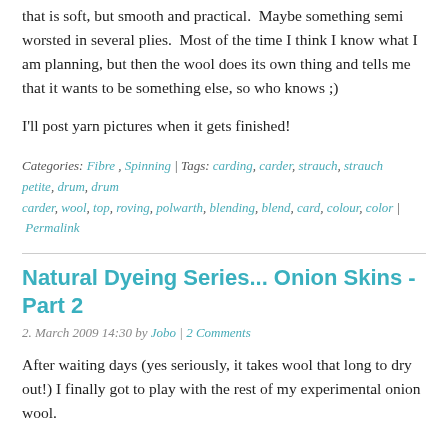that is soft, but smooth and practical.  Maybe something semi worsted in several plies.  Most of the time I think I know what I am planning, but then the wool does its own thing and tells me that it wants to be something else, so who knows ;)
I'll post yarn pictures when it gets finished!
Categories: Fibre , Spinning | Tags: carding, carder, strauch, strauch petite, drum, drum carder, wool, top, roving, polwarth, blending, blend, card, colour, color | Permalink
Natural Dyeing Series... Onion Skins - Part 2
2. March 2009 14:30 by Jobo | 2 Comments
After waiting days (yes seriously, it takes wool that long to dry out!) I finally got to play with the rest of my experimental onion wool.